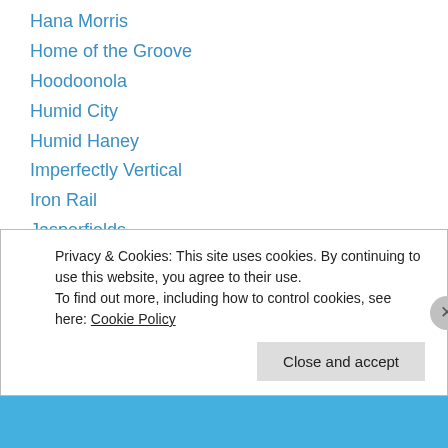Hana Morris
Home of the Groove
Hoodoonola
Humid City
Humid Haney
Imperfectly Vertical
Iron Rail
Jasperfields
Je ne regrette Rien
Jezebelsriot
Kevin Allman
Kirsten 2.0
LEJ's Blog
Privacy & Cookies: This site uses cookies. By continuing to use this website, you agree to their use. To find out more, including how to control cookies, see here: Cookie Policy
Close and accept